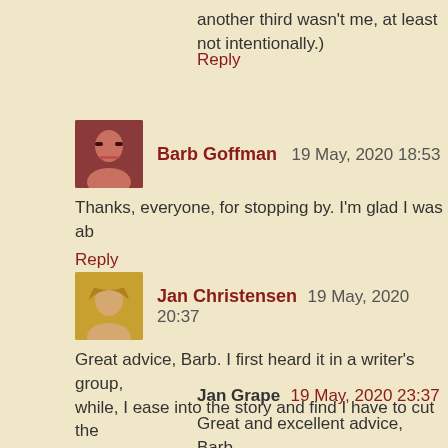another third wasn't me, at least not intentionally.)
Reply
Barb Goffman   19 May, 2020 18:53
Thanks, everyone, for stopping by. I'm glad I was ab
Reply
Jan Christensen  19 May, 2020 20:37
Great advice, Barb. I first heard it in a writer's group, while, I ease into the story and find I have to cut the after I've written the rest.
Reply
Jan Grape  19 May, 2020 23:37
Great and excellent advice, Barb.